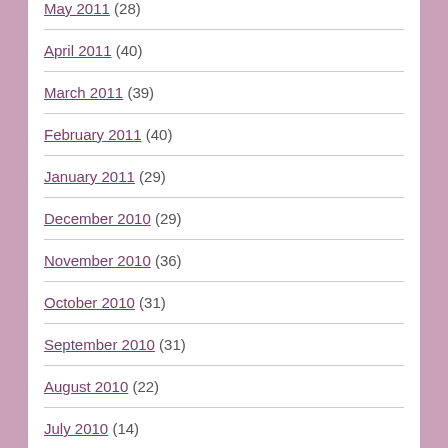May 2011 (28)
April 2011 (40)
March 2011 (39)
February 2011 (40)
January 2011 (29)
December 2010 (29)
November 2010 (36)
October 2010 (31)
September 2010 (31)
August 2010 (22)
July 2010 (14)